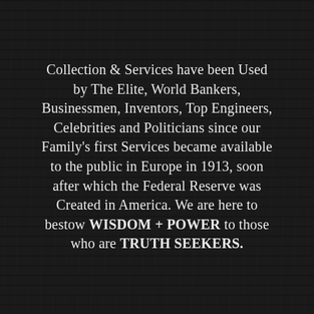Collection & Services have been Used by The Elite, World Bankers, Businessmen, Inventors, Top Engineers, Celebrities and Politicians since our Family's first Services became available to the public in Europe in 1913, soon after which the Federal Reserve was Created in America. We are here to bestow WISDOM + POWER to those who are TRUTH SEEKERS.